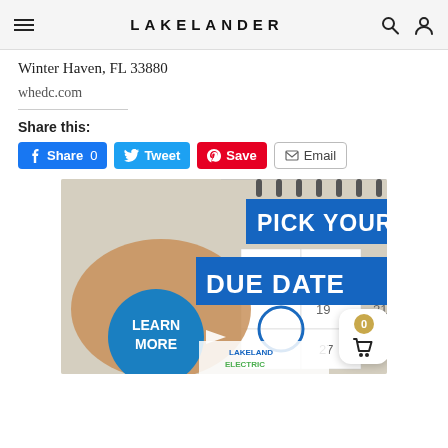LAKELANDER
Winter Haven, FL 33880
whedc.com
Share this:
Share 0  Tweet  Save  Email
[Figure (illustration): Lakeland Electric advertisement: 'PICK YOUR DUE DATE' with a hand circling a calendar date with a blue marker. Blue circle button says 'LEARN MORE'. Lakeland Electric logo at bottom.]